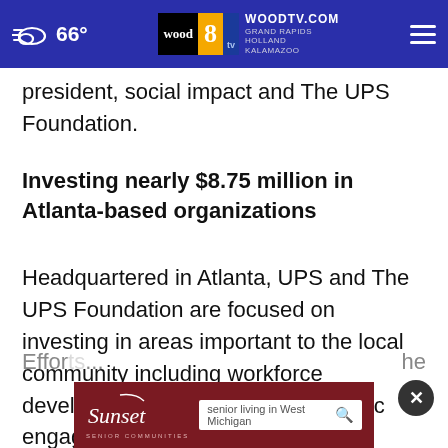66° WOODTV.COM GRAND RAPIDS HOLLAND KALAMAZOO wood 8 tv
president, social impact and The UPS Foundation.
Investing nearly $8.75 million in Atlanta-based organizations
Headquartered in Atlanta, UPS and The UPS Foundation are focused on investing in areas important to the local community including workforce development, community safety, civic engagement and entrepreneurshi
Effor... he
[Figure (other): Sunset Senior Communities advertisement banner with search box for 'senior living in West Michigan']